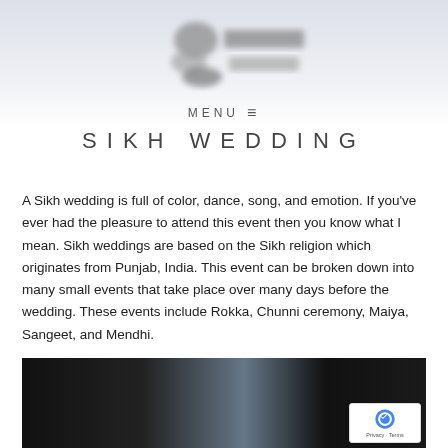[Figure (logo): Blurred website logo/header image with decorative elements]
MENU ≡
SIKH WEDDING
A Sikh wedding is full of color, dance, song, and emotion. If you've ever had the pleasure to attend this event then you know what I mean. Sikh weddings are based on the Sikh religion which originates from Punjab, India. This event can be broken down into many small events that take place over many days before the wedding. These events include Rokka, Chunni ceremony, Maiya, Sangeet, and Mendhi.
[Figure (photo): Dark photograph, partially visible, appears to be wedding scene with dark tones and teal/blue accent]